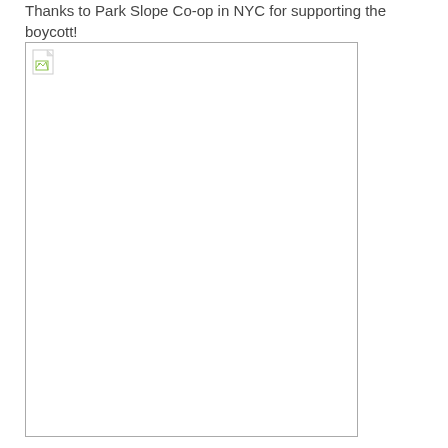Thanks to Park Slope Co-op in NYC for supporting the boycott!
[Figure (photo): Placeholder image box with broken image icon in top-left corner; image failed to load, showing a white rectangle with border.]